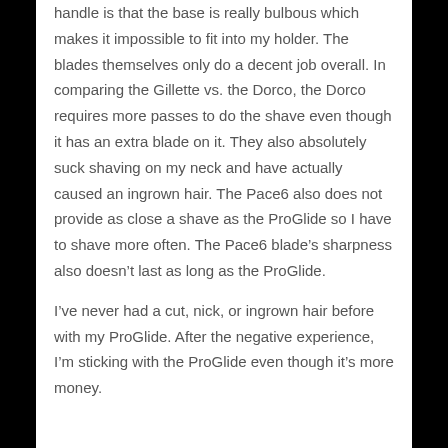handle is that the base is really bulbous which makes it impossible to fit into my holder. The blades themselves only do a decent job overall. In comparing the Gillette vs. the Dorco, the Dorco requires more passes to do the shave even though it has an extra blade on it. They also absolutely suck shaving on my neck and have actually caused an ingrown hair. The Pace6 also does not provide as close a shave as the ProGlide so I have to shave more often. The Pace6 blade’s sharpness also doesn’t last as long as the ProGlide.
I’ve never had a cut, nick, or ingrown hair before with my ProGlide. After the negative experience, I’m sticking with the ProGlide even though it’s more money.